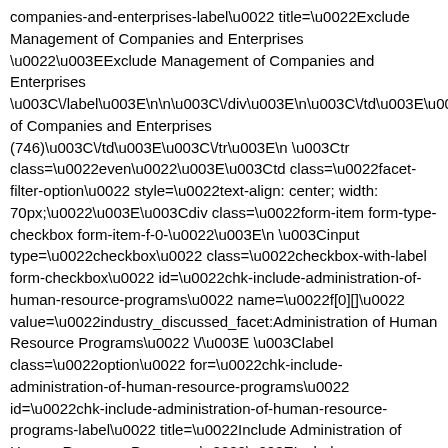companies-and-enterprises-label\u0022 title=\u0022Exclude Management of Companies and Enterprises \u0022\u003EExclude Management of Companies and Enterprises \u003C\/label\u003E\n\n\u003C\/div\u003E\n\u003C\/td\u003E\u003Ctd\u003EManagement of Companies and Enterprises (746)\u003C\/td\u003E\u003C\/tr\u003E\n \u003Ctr class=\u0022even\u0022\u003E\u003Ctd class=\u0022facet-filter-option\u0022 style=\u0022text-align: center; width: 70px;\u0022\u003E\u003Cdiv class=\u0022form-item form-type-checkbox form-item-f-0-\u0022\u003E\n \u003Cinput type=\u0022checkbox\u0022 class=\u0022checkbox-with-label form-checkbox\u0022 id=\u0022chk-include-administration-of-human-resource-programs\u0022 name=\u0022f[0][]\u0022 value=\u0022industry_discussed_facet:Administration of Human Resource Programs\u0022 \/\u003E \u003Clabel class=\u0022option\u0022 for=\u0022chk-include-administration-of-human-resource-programs\u0022 id=\u0022chk-include-administration-of-human-resource-programs-label\u0022 title=\u0022Include Administration of Human Resource Programs \u0022\u003EInclude Administration of Human Resource Programs \u003C\/label\u003E\n\n\u003C\/div\u003E\n\u003C\/td\u003E\u003Ctd class=\u0022facet-filter-option\u0022 style=\u0022text-align: center; width: 70px;\u0022\u003E\u003Cdiv class=\u0022form-item form-type-checkbox form-item-f-\u0022\u003E\n